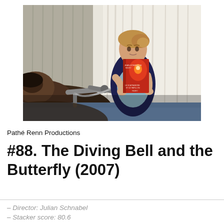[Figure (photo): A woman sits holding up a red book ('Le Scaphandre et le Papillon') while a person lies in a hospital bed in the foreground, with medical ventilator equipment visible. White curtains in background.]
Pathé Renn Productions
#88. The Diving Bell and the Butterfly (2007)
– Director: Julian Schnabel
– Stacker score: 80.6